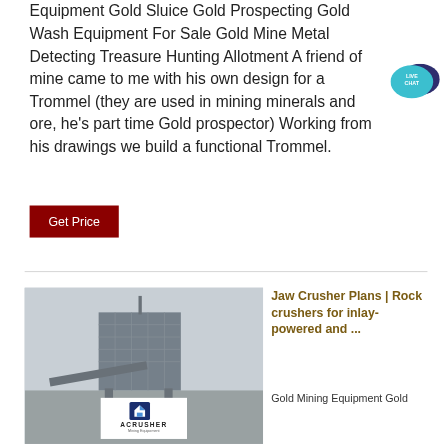Equipment Gold Sluice Gold Prospecting Gold Wash Equipment For Sale Gold Mine Metal Detecting Treasure Hunting Allotment A friend of mine came to me with his own design for a Trommel (they are used in mining minerals and ore, he's part time Gold prospector) Working from his drawings we build a functional Trommel.
[Figure (other): Live Chat speech bubble badge in teal/dark blue colors with text LIVE CHAT]
Get Price
[Figure (photo): Photo of a large industrial jaw crusher / rock crushing machine in a misty outdoor setting, with ACRUSHER Mining Equipment logo overlay at bottom center]
Jaw Crusher Plans | Rock crushers for inlay- powered and ...
Gold Mining Equipment Gold